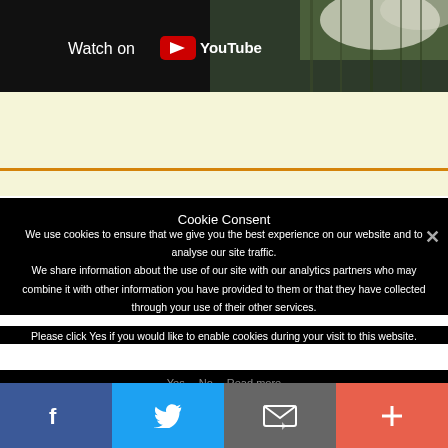[Figure (screenshot): YouTube video thumbnail with 'Watch on YouTube' label and nature/grass background image]
Cookie Consent
We use cookies to ensure that we give you the best experience on our website and to analyse our site traffic. We share information about the use of our site with our analytics partners who may combine it with other information you have provided to them or that they have collected through your use of their other services.
Please click Yes if you would like to enable cookies during your visit to this website.
Yes   No   Read more
[Figure (screenshot): Social media share bar with Facebook, Twitter, email/envelope, and plus/share buttons]